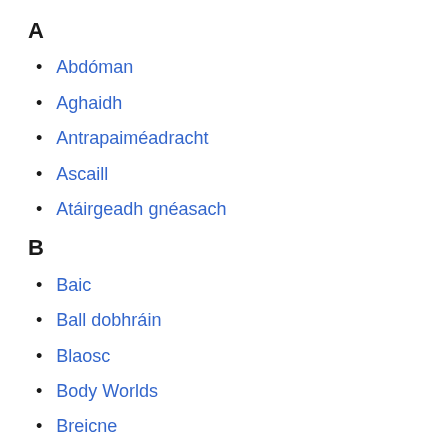A
Abdóman
Aghaidh
Antrapaiméadracht
Ascaill
Atáirgeadh gnéasach
B
Baic
Ball dobhráin
Blaosc
Body Worlds
Breicne
C